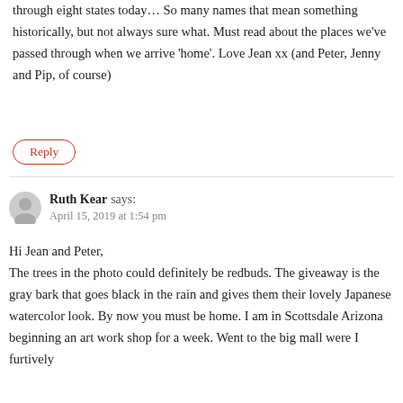through eight states today… So many names that mean something historically, but not always sure what. Must read about the places we've passed through when we arrive 'home'. Love Jean xx (and Peter, Jenny and Pip, of course)
Reply
Ruth Kear says:
April 15, 2019 at 1:54 pm
Hi Jean and Peter,
The trees in the photo could definitely be redbuds. The giveaway is the gray bark that goes black in the rain and gives them their lovely Japanese watercolor look. By now you must be home. I am in Scottsdale Arizona beginning an art work shop for a week. Went to the big mall were I furtively